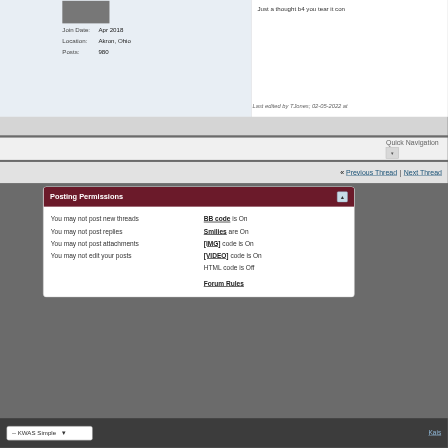Join Date: Apr 2018
Location: Akron, Ohio
Posts: 980
Just a thought b4 you tear it con...
Last edited by TJones; 02-05-2022 at
Quick Navigation
« Previous Thread | Next Thread»
Posting Permissions
You may not post new threads
You may not post replies
You may not post attachments
You may not edit your posts
BB code is On
Smilies are On
[IMG] code is On
[VIDEO] code is On
HTML code is Off
Forum Rules
-- KWAS Simple